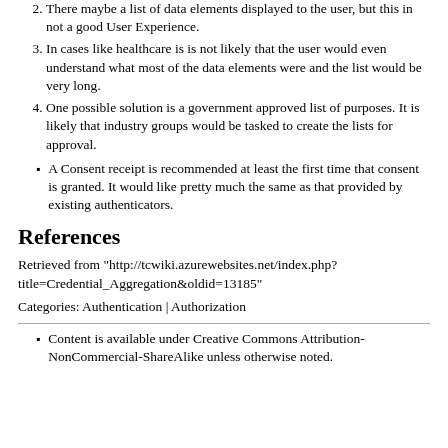2. There maybe a list of data elements displayed to the user, but this in not a good User Experience.
3. In cases like healthcare is is not likely that the user would even understand what most of the data elements were and the list would be very long.
4. One possible solution is a government approved list of purposes. It is likely that industry groups would be tasked to create the lists for approval.
A Consent receipt is recommended at least the first time that consent is granted. It would like pretty much the same as that provided by existing authenticators.
References
Retrieved from "http://tcwiki.azurewebsites.net/index.php?title=Credential_Aggregation&oldid=13185"
Categories:  Authentication | Authorization
Content is available under Creative Commons Attribution-NonCommercial-ShareAlike unless otherwise noted.